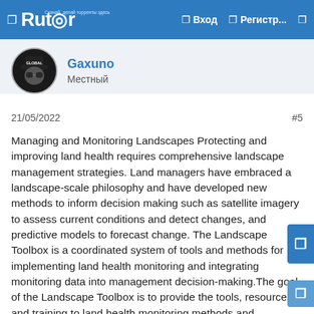Rutor — Вход   Регистр...
Gaxuno
Местный
21/05/2022    #5
Managing and Monitoring Landscapes Protecting and improving land health requires comprehensive landscape management strategies. Land managers have embraced a landscape-scale philosophy and have developed new methods to inform decision making such as satellite imagery to assess current conditions and detect changes, and predictive models to forecast change. The Landscape Toolbox is a coordinated system of tools and methods for implementing land health monitoring and integrating monitoring data into management decision-making.The goal of the Landscape Toolbox is to provide the tools, resources, and training to land health monitoring methods and technologies for answering land management questions at different scales.Nelson Stauffer Uncategorized 0The core methods described in the Monitoring Manual for Grassland, Shrubland,